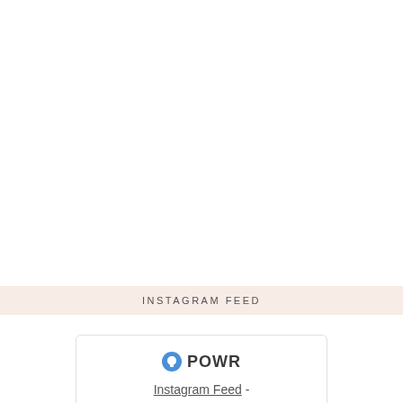INSTAGRAM FEED
[Figure (logo): POWR logo with blue power/hand icon and bold text 'POWR']
Instagram Feed - Create your own for